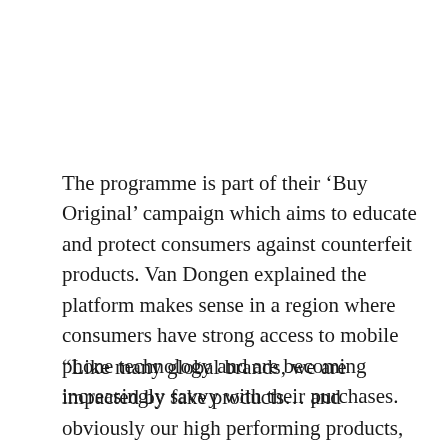The programme is part of their ‘Buy Original’ campaign which aims to educate and protect consumers against counterfeit products. Van Dongen explained the platform makes sense in a region where consumers have strong access to mobile phone technology and are becoming increasingly savvy with their purchases.
“Like many global brands, we are impacted by fake products… and obviously our high performing products, like dry irons, are very